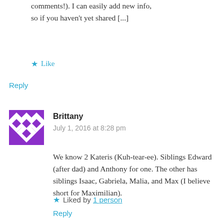comments!). I can easily add new info, so if you haven't yet shared [...]
★ Like
Reply
[Figure (illustration): Purple and white geometric diamond/cross pattern avatar icon]
Brittany
July 1, 2016 at 8:28 pm
We know 2 Kateris (Kuh-tear-ee). Siblings Edward (after dad) and Anthony for one. The other has siblings Isaac, Gabriela, Malia, and Max (I believe short for Maximilian).
★ Liked by 1 person
Reply